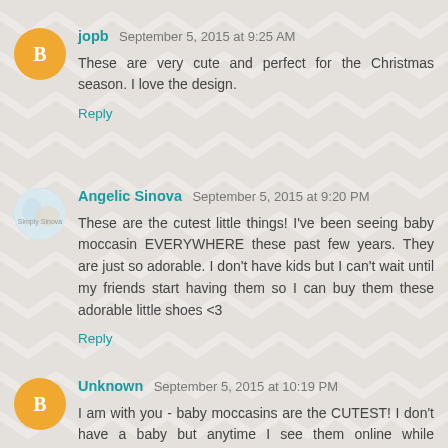jopb September 5, 2015 at 9:25 AM
These are very cute and perfect for the Christmas season. I love the design.
Reply
Angelic Sinova September 5, 2015 at 9:20 PM
These are the cutest little things! I've been seeing baby moccasin EVERYWHERE these past few years. They are just so adorable. I don't have kids but I can't wait until my friends start having them so I can buy them these adorable little shoes <3
Reply
Unknown September 5, 2015 at 10:19 PM
I am with you - baby moccasins are the CUTEST! I don't have a baby but anytime I see them online while shopping I just go Aweeeee! I have seen people hang them from their